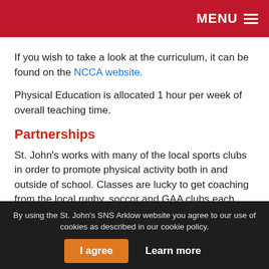MENU
If you wish to take a look at the curriculum, it can be found on the NCCA website.
Physical Education is allocated 1 hour per week of overall teaching time.
Partnerships
St. John's works with many of the local sports clubs in order to promote physical activity both in and outside of school. Classes are lucky to get coaching from the local rugby, soccor and GAA clubs each year. These coaches come in and work with different class levels for 6-8 weeks at a time
By using the St. John's SNS Arklow website you agree to our use of cookies as described in our cookie policy.